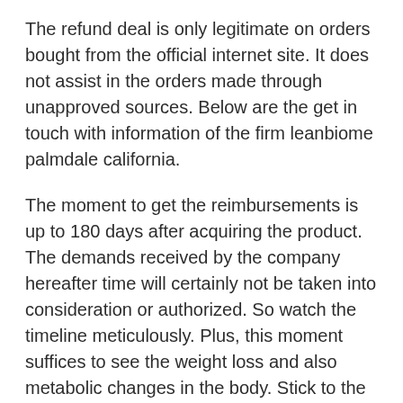The refund deal is only legitimate on orders bought from the official internet site. It does not assist in the orders made through unapproved sources. Below are the get in touch with information of the firm leanbiome palmdale california.
The moment to get the reimbursements is up to 180 days after acquiring the product. The demands received by the company hereafter time will certainly not be taken into consideration or authorized. So watch the timeline meticulously. Plus, this moment suffices to see the weight loss and also metabolic changes in the body. Stick to the usage guidelines as well as offer this product a complete opportunity to show its effects. Speak with the company if you do not see it working.